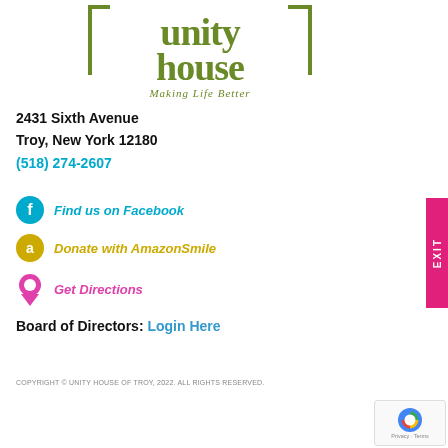[Figure (logo): Unity House logo with 'Making Life Better' tagline in olive green]
2431 Sixth Avenue
Troy, New York 12180
(518) 274-2607
Find us on Facebook
Donate with AmazonSmile
Get Directions
Board of Directors: Login Here
COPYRIGHT © UNITY HOUSE OF TROY, 2022. ALL RIGHTS RESERVED.